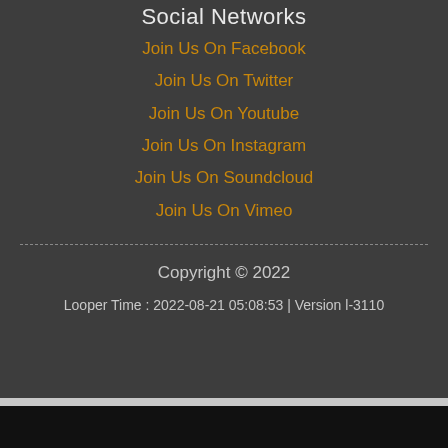Social Networks
Join Us On Facebook
Join Us On Twitter
Join Us On Youtube
Join Us On Instagram
Join Us On Soundcloud
Join Us On Vimeo
Copyright © 2022
Looper Time : 2022-08-21 05:08:53 | Version l-3110